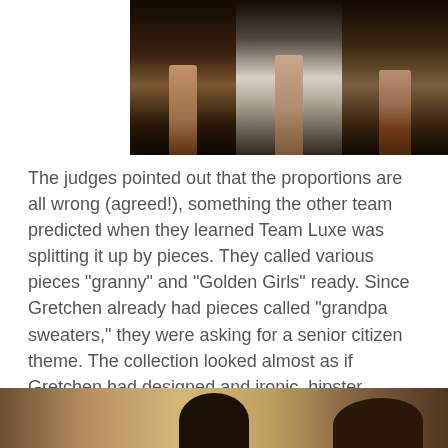[Figure (photo): Fashion runway photo showing models' legs from knees down walking on a reflective runway, split into three panels]
The judges pointed out that the proportions are all wrong (agreed!), something the other team predicted when they learned Team Luxe was splitting it up by pieces. They called various pieces "granny" and "Golden Girls" ready. Since Gretchen already had pieces called "grandpa sweaters," they were asking for a senior citizen theme. The collection looked almost as if Gretchen had designed and ironic, hipster granny theme, but because the rest of the designers don't really do ironic hipster like she does, it failed. The colors and shapes were drab and boring. Nothing in the collection made me want it. The designers owned up to which pieces they made and the judges sent them away so they could discuss this mess in private.
[Figure (photo): Bottom portion of another fashion photo, partially cut off]